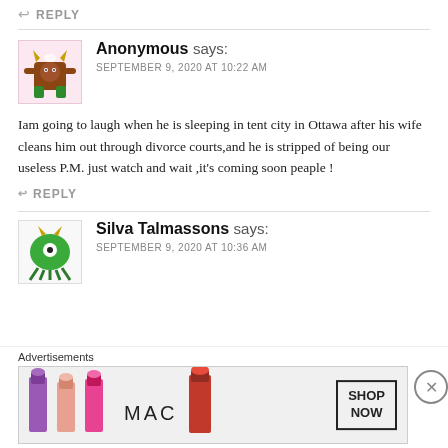↩ REPLY
Anonymous says:
SEPTEMBER 9, 2020 AT 10:22 AM
Iam going to laugh when he is sleeping in tent city in Ottawa after his wife cleans him out through divorce courts,and he is stripped of being our useless P.M. just watch and wait ,it's coming soon peaple !
↩ REPLY
Silva Talmassons says:
SEPTEMBER 9, 2020 AT 10:36 AM
[Figure (illustration): Advertisement banner for MAC cosmetics showing lipsticks and SHOP NOW button]
Advertisements